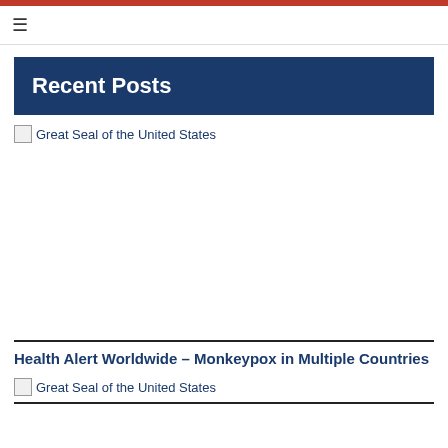≡
Recent Posts
[Figure (illustration): Broken image placeholder labeled 'Great Seal of the United States' followed by a large white image area]
Health Alert Worldwide – Monkeypox in Multiple Countries
[Figure (illustration): Broken image placeholder labeled 'Great Seal of the United States' followed by a white image area]